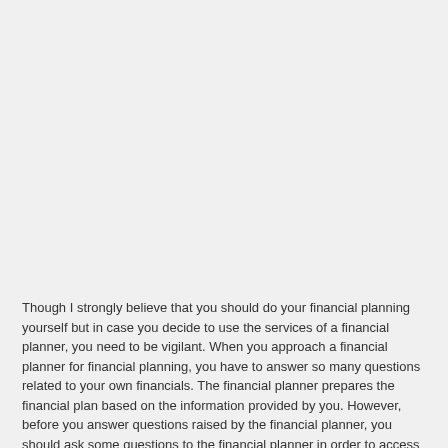Though I strongly believe that you should do your financial planning yourself but in case you decide to use the services of a financial planner, you need to be vigilant. When you approach a financial planner for financial planning, you have to answer so many questions related to your own financials. The financial planner prepares the financial plan based on the information provided by you. However, before you answer questions raised by the financial planner, you should ask some questions to the financial planner in order to access his capabilities, which are as follows:
1) Do you have your own financial plan ready and how do you review it?
This will help you in understanding how practical the financial planner in his approach to financial planning. It is easy to make financial plan for others, difficult to make it for